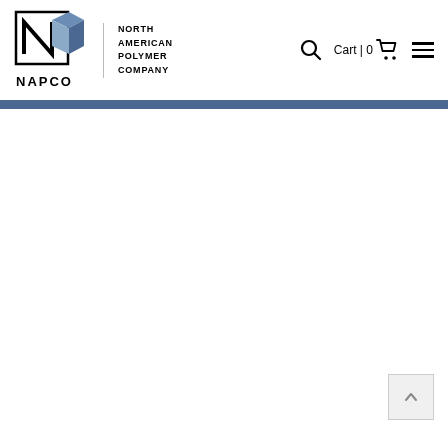[Figure (logo): NAPCO North American Polymer Company logo with geometric cube shapes and the text NAPCO below]
NORTH AMERICAN POLYMER COMPANY  Cart | 0  [hamburger menu]